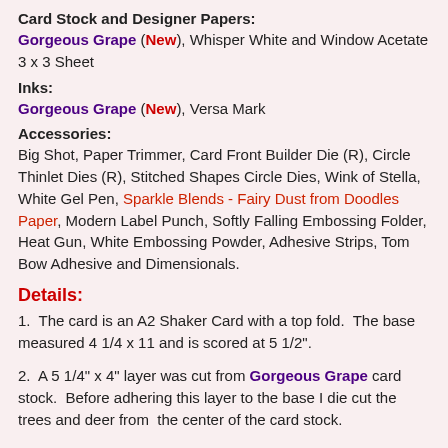Card Stock and Designer Papers:
Gorgeous Grape (New), Whisper White and Window Acetate 3 x 3 Sheet
Inks:
Gorgeous Grape (New), Versa Mark
Accessories:
Big Shot, Paper Trimmer, Card Front Builder Die (R), Circle Thinlet Dies (R), Stitched Shapes Circle Dies, Wink of Stella, White Gel Pen, Sparkle Blends - Fairy Dust from Doodles Paper, Modern Label Punch, Softly Falling Embossing Folder, Heat Gun, White Embossing Powder, Adhesive Strips, Tom Bow Adhesive and Dimensionals.
Details:
1.  The card is an A2 Shaker Card with a top fold.  The base measured 4 1/4 x 11 and is scored at 5 1/2".
2.  A 5 1/4" x 4" layer was cut from Gorgeous Grape card stock.  Before adhering this layer to the base I die cut the trees and deer from  the center of the card stock.
3.  The next panel is 5 1/8" x 3 7/8" and I cut a 3 1/4" circle in